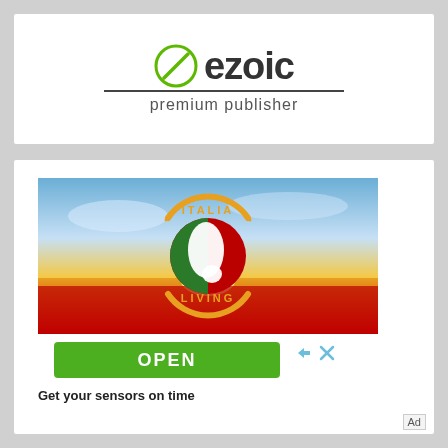[Figure (logo): Ezoic premium publisher logo with green circular icon and bold black ezoic text, underline, and subtitle 'premium publisher']
[Figure (photo): Italia Living logo overlaid on a scenic photo of a sunset over a poppy field with cloudy sky. The logo features the map of Italy in white on a red/green circle background, with 'ITALIA' arced above and 'LIVING' below in orange text.]
OPEN
Get your sensors on time
Ad